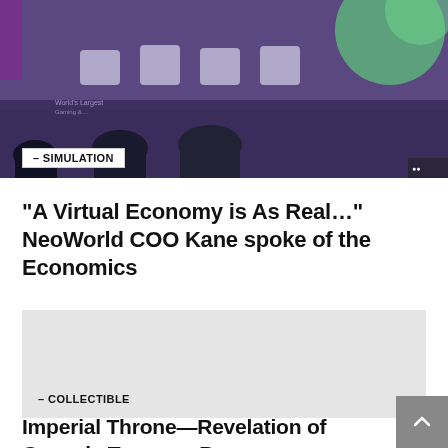[Figure (photo): Conference or panel event photo showing people seated with backs to camera, purple/green branded background with chairs and event branding]
- SIMULATION
“A Virtual Economy is As Real…” NeoWorld COO Kane spoke of the Economics
[Figure (photo): Second article image placeholder, light gray rectangle]
- COLLECTIBLE
Imperial Throne—Revelation of Genesis Treasure Boxes